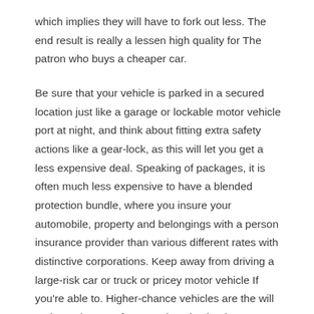which implies they will have to fork out less. The end result is really a lessen high quality for The patron who buys a cheaper car.
Be sure that your vehicle is parked in a secured location just like a garage or lockable motor vehicle port at night, and think about fitting extra safety actions like a gear-lock, as this will let you get a less expensive deal. Speaking of packages, it is often much less expensive to have a blended protection bundle, where you insure your automobile, property and belongings with a person insurance provider than various different rates with distinctive corporations. Keep away from driving a large-risk car or truck or pricey motor vehicle If you're able to. Higher-chance vehicles are the will make and types of cars and trucks that insurance plan businesses envisage to be vulnerable to theft and hi-jacking, and your top quality will be lifted appropriately. Also, highly-priced cars and trucks are usually highly-priced to repair, so that you can expect your insurance plan high quality for being greater than when you had a cheaper car or truck.